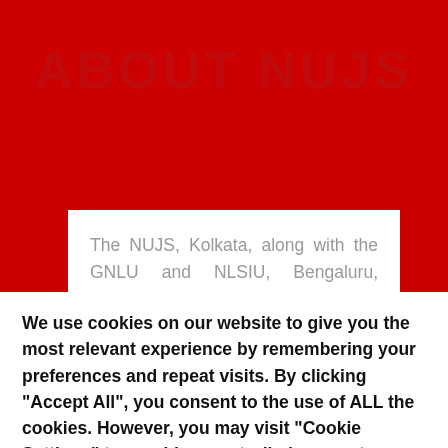ABOUT NUJS
The NUJS, Kolkata, along with the GNLU and NLSIU, Bengaluru, remain the only three national law schools which have the honourable Chief Justice of India as the Chancellor. This set-up provides an aura of
We use cookies on our website to give you the most relevant experience by remembering your preferences and repeat visits. By clicking "Accept All", you consent to the use of ALL the cookies. However, you may visit "Cookie Settings" to provide a controlled consent.